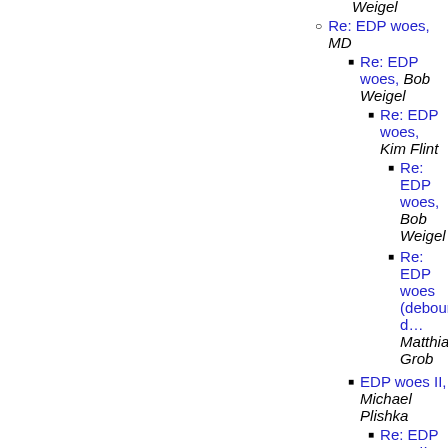Weigel (partial, top)
Re: EDP woes, MD
Re: EDP woes, Bob Weigel
Re: EDP woes, Kim Flint
Re: EDP woes, Bob Weigel
Re: EDP woes (debounced), Matthias Grob
EDP woes II, Michael Plishka
Re: EDP woes II, Bob Weigel
RE: EDP woes (partial, bottom)